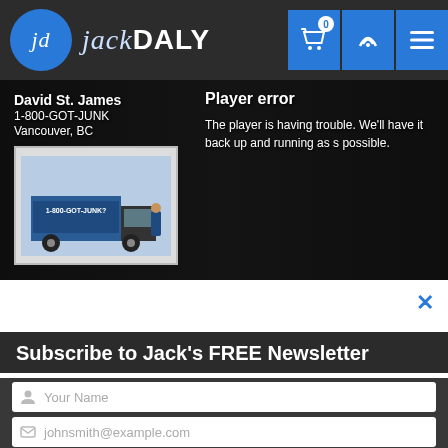jackDALY — header navigation with logo, cart (0), phone, and menu icons
[Figure (screenshot): Video player area showing a dark overlay with 'Player error' message: 'The player is having trouble. We'll have it back up and running as soon as possible.' Also shows text: David St. James, 1-800-GOT-JUNK, Vancouver, BC with a thumbnail image of a 1-800-GOT-JUNK truck.]
Subscribe to Jack's FREE Newsletter
Your Name
johnsmith@example.com
Subscribe